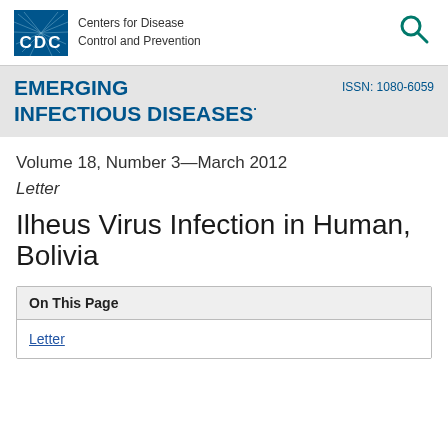[Figure (logo): CDC Centers for Disease Control and Prevention logo with blue box and radiating lines, plus search icon]
EMERGING INFECTIOUS DISEASES· ISSN: 1080-6059
Volume 18, Number 3—March 2012
Letter
Ilheus Virus Infection in Human, Bolivia
| On This Page |
| --- |
| Letter |